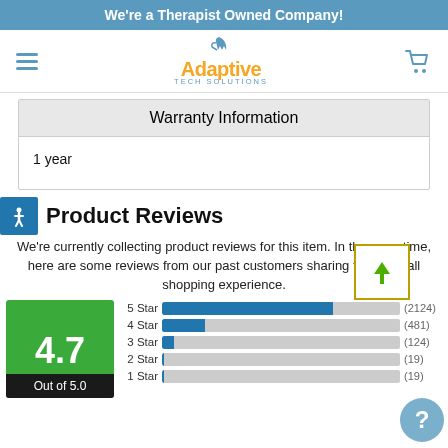We're a Therapist Owned Company!
[Figure (logo): Adaptive Tech Solutions logo with hand icon]
Warranty Information
1 year
Product Reviews
We're currently collecting product reviews for this item. In the meantime, here are some reviews from our past customers sharing their overall shopping experience.
[Figure (bar-chart): Rating breakdown]